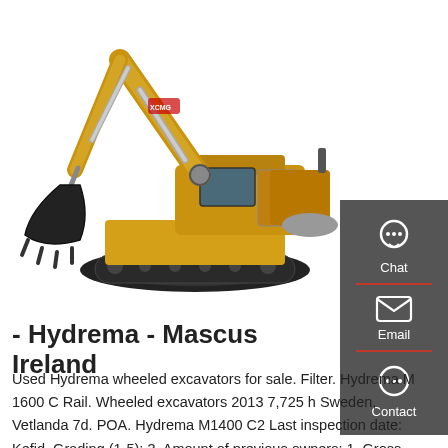[Figure (photo): Yellow wheeled excavator (Hydrema) on white background, showing boom, arm, bucket, cab, and tracks.]
- Hydrema - Mascus Ireland
Used Hydrema wheeled excavators for sale. Filter. Hydrema M 1600 C Rail. Wheeled excavators 2013 7,725 h Sweden, Vetlanda 7d. POA. Hydrema M1400 C2 Last inspection date: Kefid, Grading (1-5): 3, Amount of previous owners: 1, Gross Weight: 14500. Output of the auxiliary hydraulics: